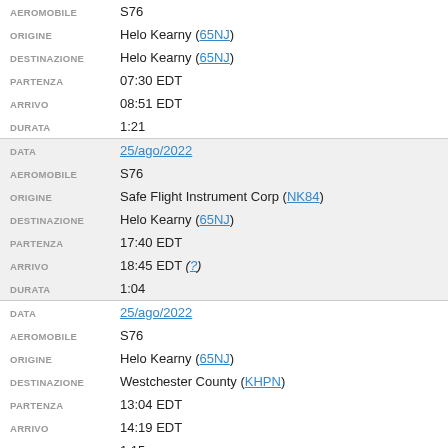| Field | Value |
| --- | --- |
| AEROMOBILE | S76 |
| ORIGINE | Helo Kearny (65NJ) |
| DESTINAZIONE | Helo Kearny (65NJ) |
| PARTENZA | 07:30 EDT |
| ARRIVO | 08:51 EDT |
| DURATA | 1:21 |
| DATA | 25/ago/2022 |
| AEROMOBILE | S76 |
| ORIGINE | Safe Flight Instrument Corp (NK84) |
| DESTINAZIONE | Helo Kearny (65NJ) |
| PARTENZA | 17:40 EDT |
| ARRIVO | 18:45 EDT (?) |
| DURATA | 1:04 |
| DATA | 25/ago/2022 |
| AEROMOBILE | S76 |
| ORIGINE | Helo Kearny (65NJ) |
| DESTINAZIONE | Westchester County (KHPN) |
| PARTENZA | 13:04 EDT |
| ARRIVO | 14:19 EDT |
| DURATA | 1:15 |